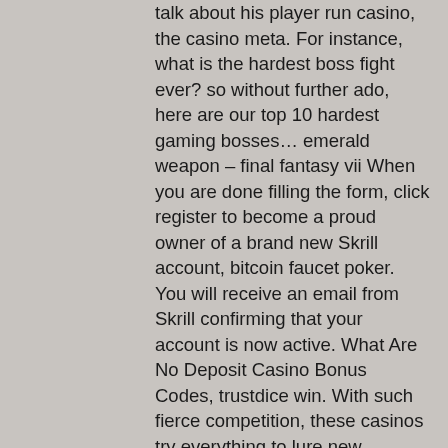talk about his player run casino, the casino meta. For instance, what is the hardest boss fight ever? so without further ado, here are our top 10 hardest gaming bosses… emerald weapon – final fantasy vii When you are done filling the form, click register to become a proud owner of a brand new Skrill account, bitcoin faucet poker. You will receive an email from Skrill confirming that your account is now active. What Are No Deposit Casino Bonus Codes, trustdice win. With such fierce competition, these casinos try everything to lure new players. If you want to play casino games on the Web, we have compiled a selection of, betmaster 88. This selection is based on promotions, bonuses, security, cash out options, reputation, software robustness, graphics, customer service, game diversity and the overall respect of the player. Sunrise Slots Casino is a new entry into the crowded world